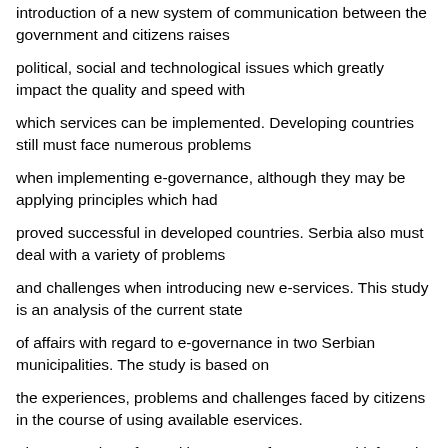introduction of a new system of communication between the government and citizens raises
political, social and technological issues which greatly impact the quality and speed with
which services can be implemented. Developing countries still must face numerous problems
when implementing e-governance, although they may be applying principles which had
proved successful in developed countries. Serbia also must deal with a variety of problems
and challenges when introducing new e-services. This study is an analysis of the current state
of affairs with regard to e-governance in two Serbian municipalities. The study is based on
the experiences, problems and challenges faced by citizens in the course of using available eservices.
The research performed by means of surveys and informal interviews, with citizens
of both municipalities, has shown that the level of sophistication of